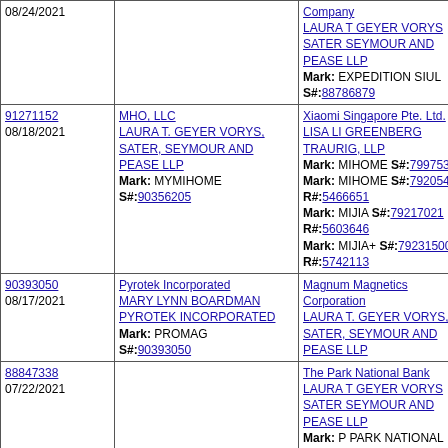| Serial/Date | Applicant/Attorney/Mark | Opposer/Attorney |
| --- | --- | --- |
| 08/24/2021 |  | Company
LAURA T GEYER VORYS SATER SEYMOUR AND PEASE LLP
Mark: EXPEDITION SIUL
S#:88786879 |
| 91271152
08/18/2021 | MHO, LLC
LAURA T. GEYER VORYS, SATER, SEYMOUR AND PEASE LLP
Mark: MYMIHOME
S#:90356205 | Xiaomi Singapore Pte. Ltd.
LISA LI GREENBERG TRAURIG, LLP
Mark: MIHOME S#:79975371
Mark: MIHOME S#:79205458
R#:5466651
Mark: MIJIA S#:79217021
R#:5603646
Mark: MIJIA+ S#:79231500
R#:5742113 |
| 90393050
08/17/2021 | Pyrotek Incorporated
MARY LYNN BOARDMAN PYROTEK INCORPORATED
Mark: PROMAG
S#:90393050 | Magnum Magnetics Corporation
LAURA T. GEYER VORYS, SATER, SEYMOUR AND PEASE LLP |
| 88847338
07/22/2021 |  | The Park National Bank
LAURA T GEYER VORYS SATER SEYMOUR AND PEASE LLP
Mark: P PARK NATIONAL BANK
S#:88847338 |
| 88847333
07/22/2021 |  | The Park National Bank
LAURA T GEYER VORYS |